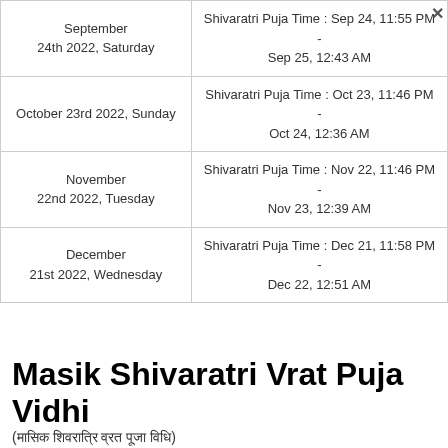| Date | Puja Time |
| --- | --- |
| September 24th 2022, Saturday | Shivaratri Puja Time : Sep 24, 11:55 PM - Sep 25, 12:43 AM |
| October 23rd 2022, Sunday | Shivaratri Puja Time : Oct 23, 11:46 PM - Oct 24, 12:36 AM |
| November 22nd 2022, Tuesday | Shivaratri Puja Time : Nov 22, 11:46 PM - Nov 23, 12:39 AM |
| December 21st 2022, Wednesday | Shivaratri Puja Time : Dec 21, 11:58 PM - Dec 22, 12:51 AM |
Masik Shivaratri Vrat Puja Vidhi
(मासिक शिवरात्रि व्रत पूजा विधि)